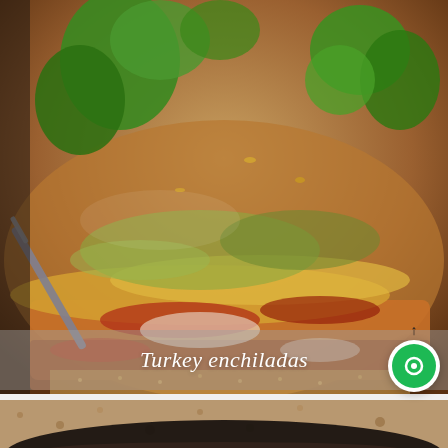[Figure (photo): Close-up photo of turkey enchiladas on a plate, showing layers of tortilla, cheese, red sauce, lettuce, and fresh cilantro garnish, with a fork lifting a portion]
Turkey enchiladas
[Figure (photo): Partial view of a second food photo at the bottom, showing what appears to be a dark-rimmed plate or pan with food, on a textured surface]